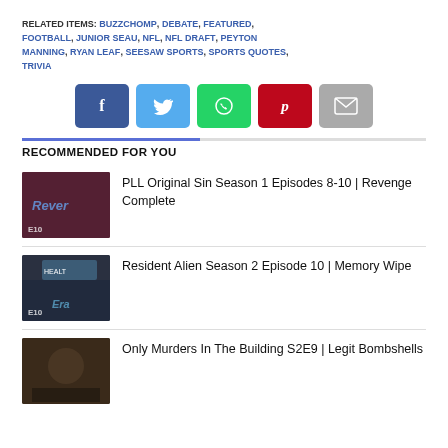RELATED ITEMS: BUZZCHOMP, DEBATE, FEATURED, FOOTBALL, JUNIOR SEAU, NFL, NFL DRAFT, PEYTON MANNING, RYAN LEAF, SEESAW SPORTS, SPORTS QUOTES, TRIVIA
[Figure (infographic): Social share buttons: Facebook, Twitter, WhatsApp, Pinterest, Email]
RECOMMENDED FOR YOU
[Figure (photo): Thumbnail for PLL Original Sin Season 1 Episodes 8-10 | Revenge Complete, showing group of people in dark scene with Revenge text overlay]
PLL Original Sin Season 1 Episodes 8-10 | Revenge Complete
[Figure (photo): Thumbnail for Resident Alien Season 2 Episode 10 | Memory Wipe, showing outdoor health building scene]
Resident Alien Season 2 Episode 10 | Memory Wipe
[Figure (photo): Thumbnail for Only Murders In The Building S2E9 | Legit Bombshells]
Only Murders In The Building S2E9 | Legit Bombshells